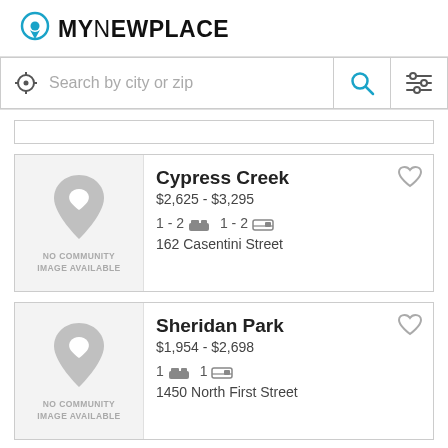[Figure (logo): MyNewPlace logo with location pin icon and stylized text]
[Figure (screenshot): Search bar with location icon, 'Search by city or zip' placeholder, search button (blue magnifying glass), and filter icon]
[Figure (screenshot): Partial listing card at top]
Cypress Creek
$2,625 - $3,295
1 - 2  1 - 2
162 Casentini Street
Sheridan Park
$1,954 - $2,698
1  1
1450 North First Street